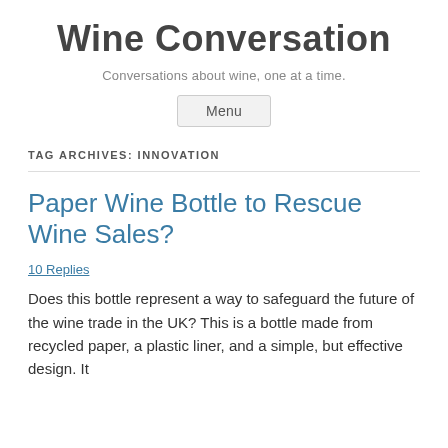Wine Conversation
Conversations about wine, one at a time.
Menu
TAG ARCHIVES: INNOVATION
Paper Wine Bottle to Rescue Wine Sales?
10 Replies
Does this bottle represent a way to safeguard the future of the wine trade in the UK? This is a bottle made from recycled paper, a plastic liner, and a simple, but effective design. It